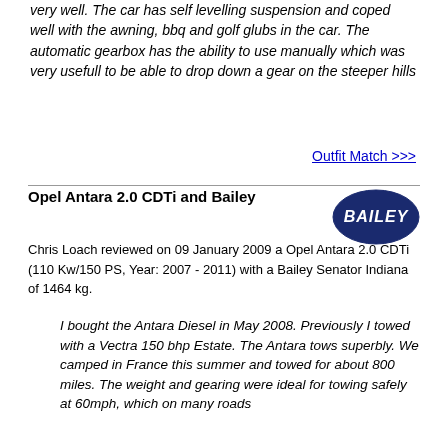very well. The car has self levelling suspension and coped well with the awning, bbq and golf glubs in the car. The automatic gearbox has the ability to use manually which was very usefull to be able to drop down a gear on the steeper hills
Outfit Match >>>
Opel Antara 2.0 CDTi and Bailey
[Figure (logo): Bailey oval logo with white text on dark blue background]
Chris Loach reviewed on 09 January 2009 a Opel Antara 2.0 CDTi (110 Kw/150 PS, Year: 2007 - 2011) with a Bailey Senator Indiana of 1464 kg.
I bought the Antara Diesel in May 2008. Previously I towed with a Vectra 150 bhp Estate. The Antara tows superbly. We camped in France this summer and towed for about 800 miles. The weight and gearing were ideal for towing safely at 60mph, which on many roads